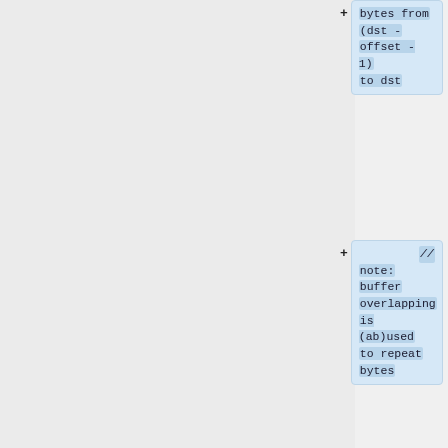bytes from
(dst -
offset - 1)
to dst
// note: buffer overlapping is (ab)used to repeat bytes
}
== Audio Frame Types ==